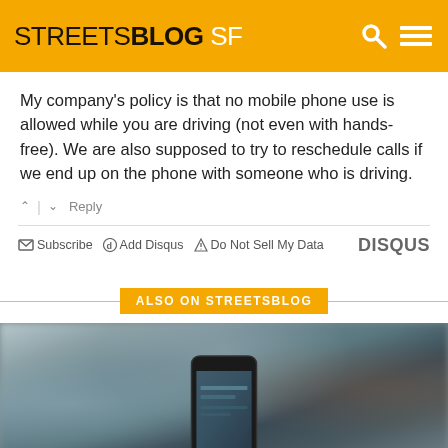STREETSBLOG SF
My company's policy is that no mobile phone use is allowed while you are driving (not even with hands-free). We are also supposed to try to reschedule calls if we end up on the phone with someone who is driving.
↑ | ↓  Reply
✉ Subscribe  ⓓ Add Disqus  ⚠ Do Not Sell My Data   DISQUS
ALSO ON STREETSBLOG
[Figure (photo): Blurred street scene photo with a person holding a smartphone in the foreground, urban street in the background]